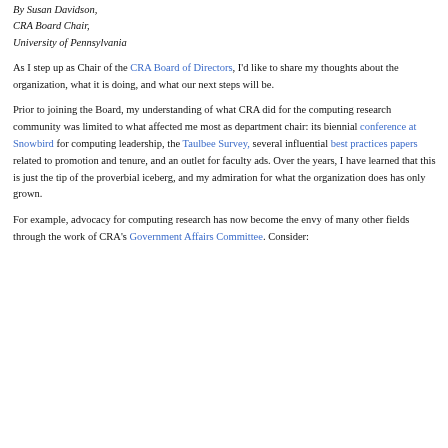By Susan Davidson,
CRA Board Chair,
University of Pennsylvania
As I step up as Chair of the CRA Board of Directors, I'd like to share my thoughts about the organization, what it is doing, and what our next steps will be.
Prior to joining the Board, my understanding of what CRA did for the computing research community was limited to what affected me most as department chair: its biennial conference at Snowbird for computing leadership, the Taulbee Survey, several influential best practices papers related to promotion and tenure, and an outlet for faculty ads. Over the years, I have learned that this is just the tip of the proverbial iceberg, and my admiration for what the organization does has only grown.
For example, advocacy for computing research has now become the envy of many other fields through the work of CRA's Government Affairs Committee. Consider: